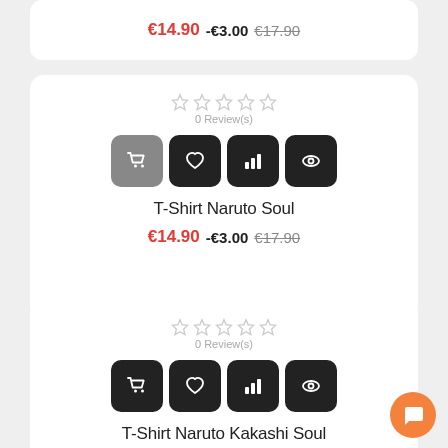€14.90 -€3.00 €17.90
[Figure (screenshot): Product card for T-Shirt Naruto Soul with star ratings, action buttons (cart, wishlist, compare, view), price €14.90 -€3.00 €17.90]
T-Shirt Naruto Soul
€14.90 -€3.00 €17.90
[Figure (screenshot): Product card for T-Shirt Naruto Kakashi Soul with star ratings, action buttons (cart, wishlist, compare, view), price €14.90 -€3.00 €17.90]
T-Shirt Naruto Kakashi Soul
€14.90 -€3.00 €17.90